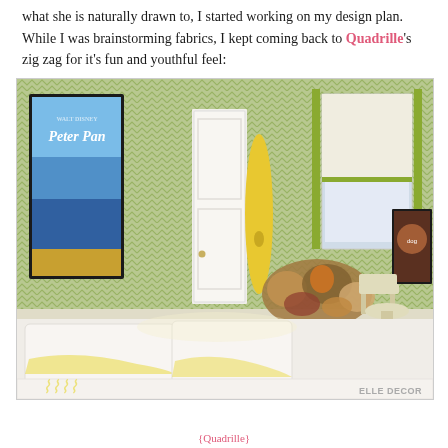what she is naturally drawn to, I started working on my design plan.  While I was brainstorming fabrics, I kept coming back to Quadrille's zig zag for it's fun and youthful feel:
[Figure (photo): A children's bedroom with green zig-zag patterned wallpaper, a Peter Pan movie poster on the left wall, a yellow surfboard leaning against the wall near a white door, stuffed animals on the floor, a white bed with yellow accents in the foreground, a window with a white roman shade trimmed in green on the right, a small framed dog picture on the right wall, a wooden chair and side table in the background right. ELLE DECOR watermark in bottom right corner.]
{Quadrille}